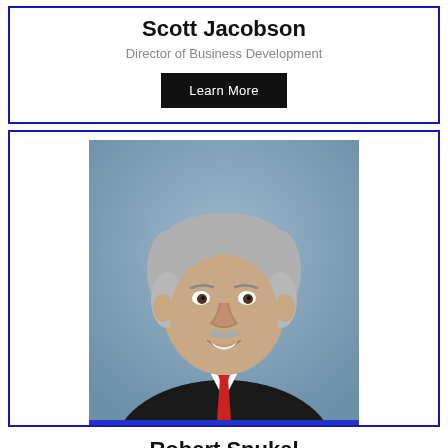Scott Jacobson
Director of Business Development
Learn More
[Figure (photo): Professional headshot of a man with gray hair and mustache wearing a dark suit and red tie, against a blue background]
Robert Snukal